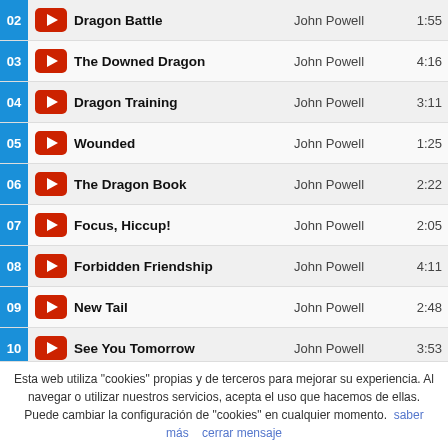| # |  | Title | Artist | Duration |
| --- | --- | --- | --- | --- |
| 02 | ▶ | Dragon Battle | John Powell | 1:55 |
| 03 | ▶ | The Downed Dragon | John Powell | 4:16 |
| 04 | ▶ | Dragon Training | John Powell | 3:11 |
| 05 | ▶ | Wounded | John Powell | 1:25 |
| 06 | ▶ | The Dragon Book | John Powell | 2:22 |
| 07 | ▶ | Focus, Hiccup! | John Powell | 2:05 |
| 08 | ▶ | Forbidden Friendship | John Powell | 4:11 |
| 09 | ▶ | New Tail | John Powell | 2:48 |
| 10 | ▶ | See You Tomorrow | John Powell | 3:53 |
| 11 | ▶ | Test Drive | John Powell | 2:36 |
Esta web utiliza "cookies" propias y de terceros para mejorar su experiencia. Al navegar o utilizar nuestros servicios, acepta el uso que hacemos de ellas. Puede cambiar la configuración de "cookies" en cualquier momento. saber más   cerrar mensaje